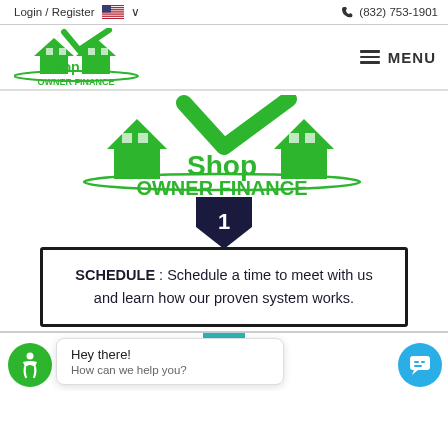Login / Register   (832) 753-1901
[Figure (logo): Shop Owner Finance logo - green houses with checkmark and green text]
[Figure (logo): Large Shop Owner Finance logo - green rooftops with Shop text and OWNER FINANCE in large green letters]
[Figure (infographic): Step 1 - dark blue downward arrow with number 1, inside a black-bordered rectangle]
SCHEDULE : Schedule a time to meet with us and learn how our proven system works.
Hey there! How can we help you?
PICK : You pick